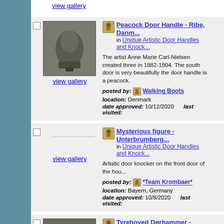view gallery
[Figure (photo): Peacock door handle mounted on ornate metal door plate, Ribe Denmark]
view gallery
Peacock Door Handle - Ribe, Danm...
in Unique Artistic Door Handles and Knock...
The artist Anne Marie Carl-Nielsen created three in 1882-1904. The south door is very beautifully the door handle is a peacock.
posted by: Walking Boots
location: Denmark
date approved: 10/12/2020   last visited:
Mysterious figure - Unterbrumberg...
in Unique Artistic Door Handles and Knock...
Artistic door knocker on the front door of the hou...
posted by: *Team Krombaer*
location: Bayern, Germany
date approved: 10/8/2020   last visited:
view gallery
[Figure (photo): Bull or animal head door knocker, Domkirken]
Tyrehoved Dørhammer - Domkirke...
in Unique Artistic Door Handles and Knock...